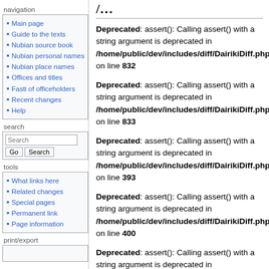navigation
Main page
Guide to the texts
Nubian source book
Nubian personal names
Nubian place names
Offices and titles
Fasti of officeholders
Recent changes
Help
search
tools
What links here
Related changes
Special pages
Permanent link
Page information
print/export
Deprecated: assert(): Calling assert() with a string argument is deprecated in /home/public/dev/includes/diff/DairikiDiff.php on line 832
Deprecated: assert(): Calling assert() with a string argument is deprecated in /home/public/dev/includes/diff/DairikiDiff.php on line 833
Deprecated: assert(): Calling assert() with a string argument is deprecated in /home/public/dev/includes/diff/DairikiDiff.php on line 393
Deprecated: assert(): Calling assert() with a string argument is deprecated in /home/public/dev/includes/diff/DairikiDiff.php on line 400
Deprecated: assert(): Calling assert() with a string argument is deprecated in